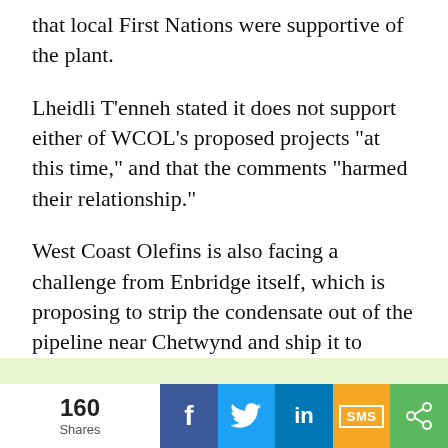that local First Nations were supportive of the plant.
Lheidli T’enneh stated it does not support either of WCOL’s proposed projects “at this time,” and that the comments “harmed their relationship.”
West Coast Olefins is also facing a challenge from Enbridge itself, which is proposing to strip the condensate out of the pipeline near Chetwynd and ship it to Alberta for processing.
[Figure (infographic): Social share bar showing 160 Shares, with buttons for Facebook (f), Twitter (bird icon), LinkedIn (in), SMS, and share (<) icons on colored backgrounds: blue, light blue, dark blue, orange/yellow, green.]